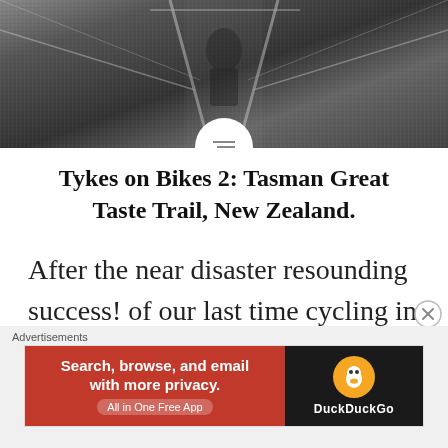[Figure (photo): Black and white aerial/top-down photograph of a person on a bike path or bridge]
Tykes on Bikes 2: Tasman Great Taste Trail, New Zealand.
After the near disaster resounding success! of our last time cycling in Enzed we couldn't wait to do it again. The boys were pumped, though Finn was quick to check we aren't riding 25km again are we
[Figure (screenshot): DuckDuckGo advertisement banner: 'Search, browse, and email with more privacy. All in One Free App' on red background with DuckDuckGo logo on dark background]